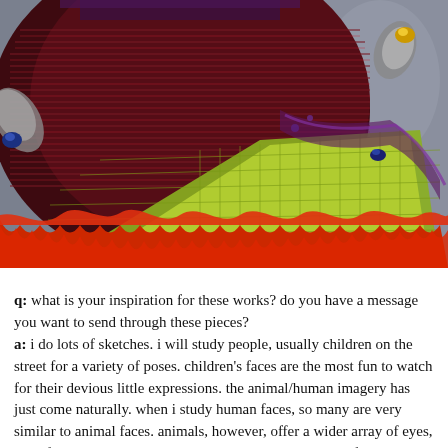[Figure (photo): Close-up photo of a colorful textile or fiber art sculpture. The piece features dark burgundy/maroon knitted or crocheted material with red-orange fringe at the bottom, bright yellow-green woven sections, and small decorative beaded or jeweled elements. The background is gray.]
q: what is your inspiration for these works? do you have a message you want to send through these pieces? a: i do lots of sketches. i will study people, usually children on the street for a variety of poses. children's faces are the most fun to watch for their devious little expressions. the animal/human imagery has just come naturally. when i study human faces, so many are very similar to animal faces. animals, however, offer a wider array of eyes, ears, feet and mouths to come up with my own species of creature. my work does not have a message. i love that it makes many people laugh and smile and remember their